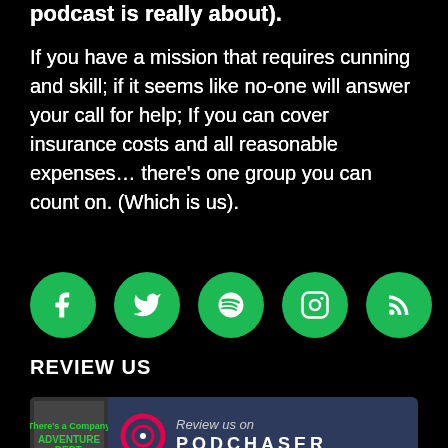podcast is really about).
If you have a mission that requires cunning and skill; if it seems like no-one will answer your call for help; If you can cover insurance costs and all reasonable expenses… there's one group you can count on. (Which is us).
[Figure (other): Row of five green circular social media icons: Facebook, Twitter, Spotify, Instagram, RSS feed]
REVIEW US
[Figure (other): Podchaser review banner with podcast thumbnail on left and 'Review us on PODCHASER' text with Podchaser ring logo on blue-grey background]